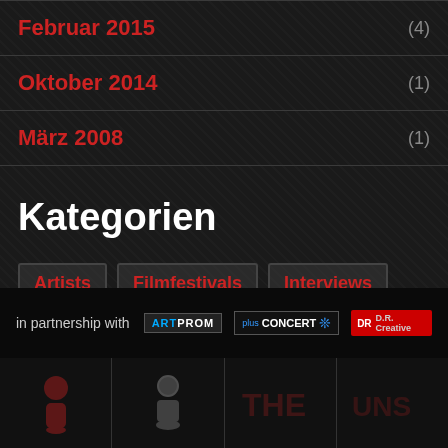Februar 2015 (4)
Oktober 2014 (1)
März 2008 (1)
Kategorien
Artists
Filmfestivals
Interviews
Musicfestivals
Offtopic
Releases
in partnership with ARTPROM plusCONCERT D.R. Creative